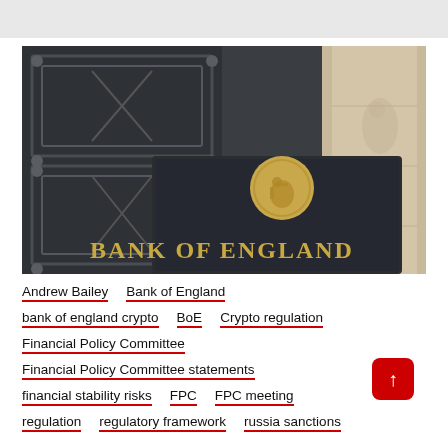[Figure (photo): Photograph of the Bank of England bronze plaque/sign with the Bank of England seal (coin with seated Britannia figure) and the text 'BANK OF ENGLAND' in gold letters, set against ornate dark metal doors.]
Andrew Bailey
Bank of England
bank of england crypto
BoE
Crypto regulation
Financial Policy Committee
Financial Policy Committee statements
financial stability risks
FPC
FPC meeting
regulation
regulatory framework
russia sanctions